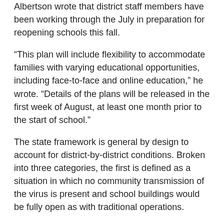Albertson wrote that district staff members have been working through the July in preparation for reopening schools this fall.
“This plan will include flexibility to accommodate families with varying educational opportunities, including face-to-face and online education,” he wrote. “Details of the plans will be released in the first week of August, at least one month prior to the start of school.”
The state framework is general by design to account for district-by-district conditions. Broken into three categories, the first is defined as a situation in which no community transmission of the virus is present and school buildings would be fully open as with traditional operations.
In Category 2, with “minimal to moderate” community transmission, a “hybrid/blended” strategy would be put in place, including limited or staggered use of school buildings via targeted closure, short-term closure of one to four weeks, or mid-term closure of four to six weeks. As defined elsewhere in the guidance,